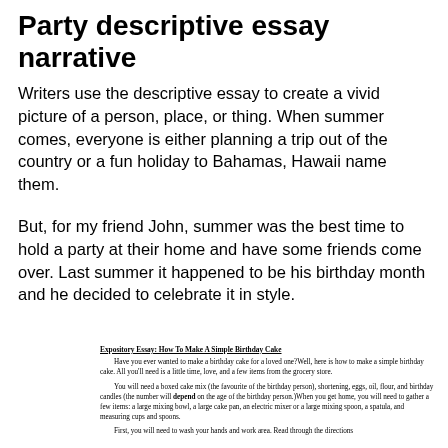Party descriptive essay narrative
Writers use the descriptive essay to create a vivid picture of a person, place, or thing. When summer comes, everyone is either planning a trip out of the country or a fun holiday to Bahamas, Hawaii name them.
But, for my friend John, summer was the best time to hold a party at their home and have some friends come over. Last summer it happened to be his birthday month and he decided to celebrate it in style.
Expository Essay: How To Make A Simple Birthday Cake
Have you ever wanted to make a birthday cake for a loved one?Well, here is how to make a simple birthday cake. All you'll need is a little time, love, and a few items from the grocery store.
You will need a boxed cake mix (the favourite of the birthday person), shortening, eggs, oil, flour, and birthday candles (the number will depend on the age of the birthday person.)When you get home, you will need to gather a few items: a large mixing bowl, a large cake pan, an electric mixer or a large mixing spoon, a spatula, and measuring cups and spoons.
First, you will need to wash your hands and work area. Read through the directions